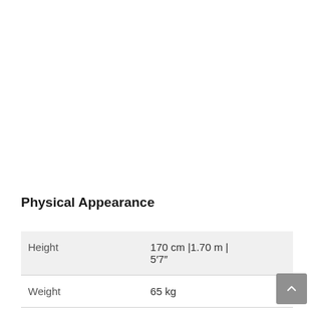Physical Appearance
| Height | 170 cm |1.70 m | 5′7″ |
| Weight | 65 kg |